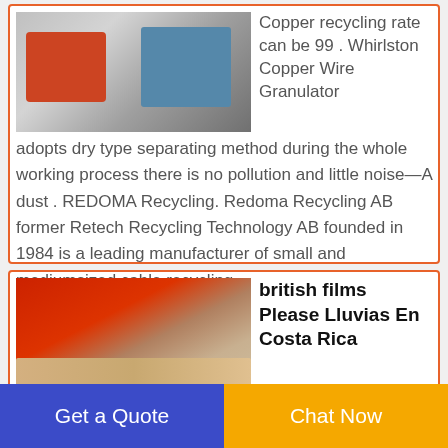[Figure (photo): Industrial copper wire granulator machine with red and blue/grey components on a factory floor]
Copper recycling rate can be 99 . Whirlston Copper Wire Granulator adopts dry type separating method during the whole working process there is no pollution and little noise—A dust . REDOMA Recycling. Redoma Recycling AB former Retech Recycling Technology AB founded in 1984 is a leading manufacturer of small and mediumsized cable recycling
[Figure (photo): Recycled materials with red and brown/copper colored fragments]
british films Please Lluvias En Costa Rica
Get a Quote
Chat Now